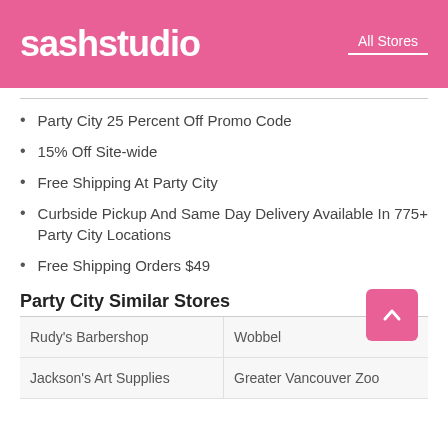sashstudio  All Stores
Party City 25 Percent Off Promo Code
15% Off Site-wide
Free Shipping At Party City
Curbside Pickup And Same Day Delivery Available In 775+ Party City Locations
Free Shipping Orders $49
Party City Similar Stores
| Rudy's Barbershop | Wobbel |
| Jackson's Art Supplies | Greater Vancouver Zoo |